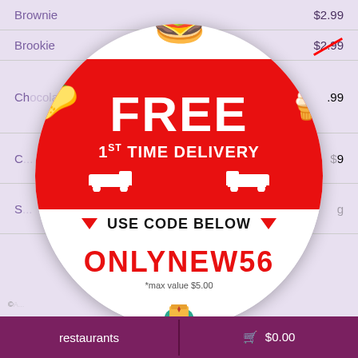Brownie   $2.99
Brookie   $2.99 (crossed out)
Cho...   .99
C...   9
S...   g
[Figure (infographic): Circular promotional badge with red background top half showing 'FREE 1ST TIME DELIVERY' in large white text, with cartoon burger at top, taco on left, ice cream on right, white delivery truck at bottom of red section. White band in middle says 'USE CODE BELOW' with red triangles. Bottom white section shows promo code 'ONLYNEW56' in red and '*max value $5.00' below, with Takeout4You logo at bottom.]
restaurants
$0.00